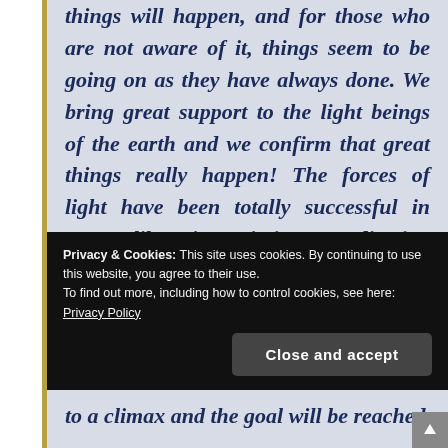things will happen, and for those who are not aware of it, things seem to be going on as they have always done. We bring great support to the light beings of the earth and we confirm that great things really happen! The forces of light have been totally successful in recent liberation missions, eradicating most of
Privacy & Cookies: This site uses cookies. By continuing to use this website, you agree to their use.
To find out more, including how to control cookies, see here: Privacy Policy
Close and accept
to a climax and the goal will be reached